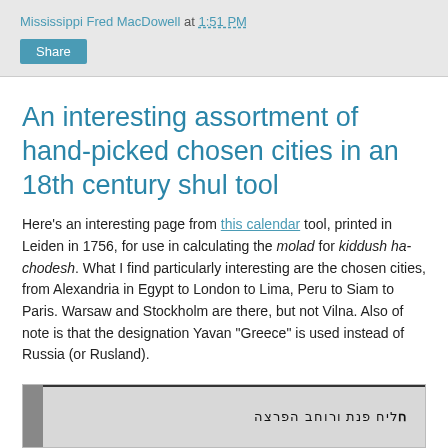Mississippi Fred MacDowell at 1:51 PM
Share
An interesting assortment of hand-picked chosen cities in an 18th century shul tool
Here's an interesting page from this calendar tool, printed in Leiden in 1756, for use in calculating the molad for kiddush ha-chodesh. What I find particularly interesting are the chosen cities, from Alexandria in Egypt to London to Lima, Peru to Siam to Paris. Warsaw and Stockholm are there, but not Vilna. Also of note is that the designation Yavan "Greece" is used instead of Russia (or Rusland).
[Figure (photo): Partial view of a scanned page from an 18th century Hebrew calendar tool printed in Leiden in 1756, showing Hebrew text]